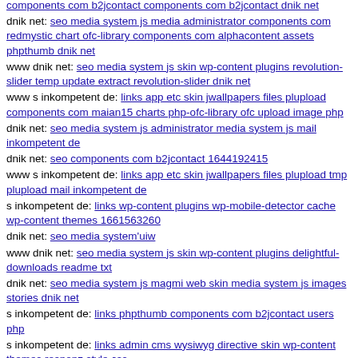components com b2jcontact components com b2jcontact dnik net
dnik net: seo media system js media administrator components com redmystic chart ofc-library components com alphacontent assets phpthumb dnik net
www dnik net: seo media system js skin wp-content plugins revolution-slider temp update extract revolution-slider dnik net
www s inkompetent de: links app etc skin jwallpapers files plupload components com maian15 charts php-ofc-library ofc upload image php
dnik net: seo media system js administrator media system js mail inkompetent de
dnik net: seo components com b2jcontact 1644192415
www s inkompetent de: links app etc skin jwallpapers files plupload tmp plupload mail inkompetent de
s inkompetent de: links wp-content plugins wp-mobile-detector cache wp-content themes 1661563260
dnik net: seo media system'uiw
www dnik net: seo media system js skin wp-content plugins delightful-downloads readme txt
dnik net: seo media system js magmi web skin media system js images stories dnik net
s inkompetent de: links phpthumb components com b2jcontact users php
s inkompetent de: links admin cms wysiwyg directive skin wp-content themes responz style css
dnik net: seo media system js wp-admin includes plugins dnik net